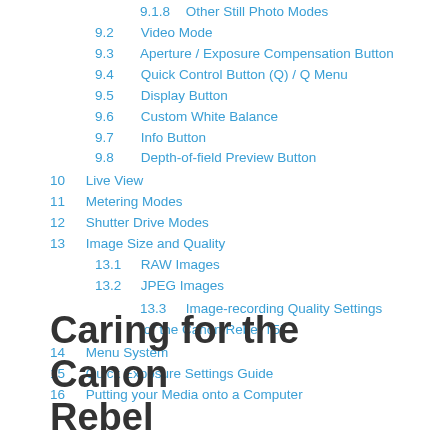9.1.8  Other Still Photo Modes
9.2  Video Mode
9.3  Aperture / Exposure Compensation Button
9.4  Quick Control Button (Q) / Q Menu
9.5  Display Button
9.6  Custom White Balance
9.7  Info Button
9.8  Depth-of-field Preview Button
10  Live View
11  Metering Modes
12  Shutter Drive Modes
13  Image Size and Quality
13.1  RAW Images
13.2  JPEG Images
13.3  Image-recording Quality Settings for the Canon Rebel T5i
14  Menu System
15  Quick Exposure Settings Guide
16  Putting your Media onto a Computer
Caring for the Canon Rebel